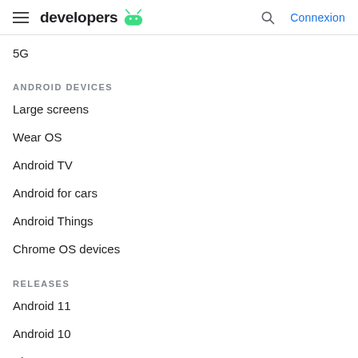developers | Connexion
5G
ANDROID DEVICES
Large screens
Wear OS
Android TV
Android for cars
Android Things
Chrome OS devices
RELEASES
Android 11
Android 10
Pie